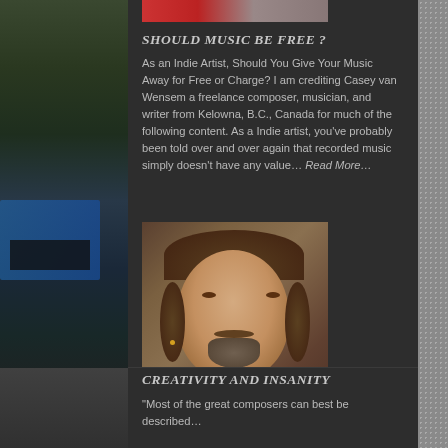[Figure (photo): Partial top image with red element visible, cropped at top of main content area]
SHOULD MUSIC BE FREE ?
As an Indie Artist, Should You Give Your Music Away for Free or Charge? I am crediting Casey van Wensem a freelance composer, musician, and writer from Kelowna, B.C., Canada for much of the following content. As a Indie artist, you've probably been told over and over again that recorded music simply doesn't have any value… Read More…
[Figure (photo): Portrait painting of William Shakespeare in classical style with white ruffled collar and dark clothing]
CREATIVITY AND INSANITY
"Most of the great composers can best be described...